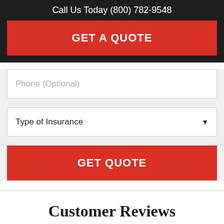Call Us Today (800) 782-9548
GET A QUOTE
Phone (Optional)
Type of Insurance
GET QUOTE
Customer Reviews